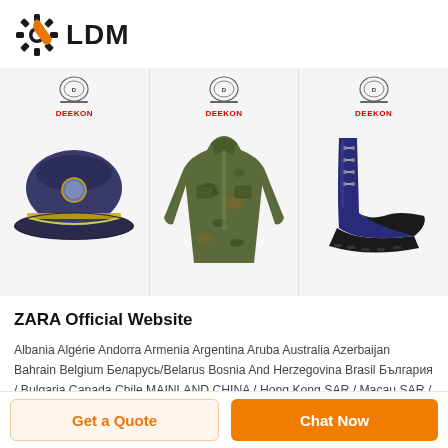[Figure (logo): LDM logo with gear icon and orange wrench]
[Figure (photo): Three product images: a navy police/military cap, a camouflage military jacket, and a navy/black safety boot, each with DEEKON brand badge above]
ZARA Official Website
Albania Algérie Andorra Armenia Argentina Aruba Australia Azerbaijan Bahrain Belgium Беларусь/Belarus Bosnia And Herzegovina Brasil България / Bulgaria Canada Chile MAINLAND CHINA / Hong Kong SAR / Macau SAR / Taiwan, China / Colombia Costa Rica Cyprus Česká republika Danmark Deutschland /
Get a Quote
Chat Now